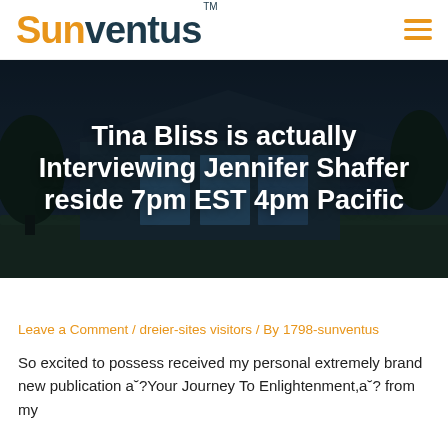Sunventus™
[Figure (photo): Nighttime exterior photo of a modern house with large glass windows, dark sky background, used as hero image behind article title]
Tina Bliss is actually Interviewing Jennifer Shaffer reside 7pm EST 4pm Pacific
Leave a Comment / dreier-sites visitors / By 1798-sunventus
So excited to possess received my personal extremely brand new publication a˘?Your Journey To Enlightenment,a˘? from my